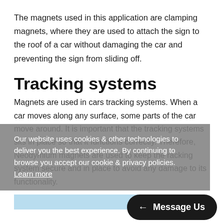The magnets used in this application are clamping magnets, where they are used to attach the sign to the roof of a car without damaging the car and preventing the sign from sliding off.
Tracking systems
Magnets are used in cars tracking systems. When a car moves along any surface, some parts of the car move around. It is important that the tracking systems sits in place so that it functions correctly. Therefore, Neodymium magnets are used to keep the racking system secure and in place to avoid any damage to its functionality.
Our website uses cookies & other technologies to deliver you the best experience. By continuing to browse you accept our cookie & privacy policies.
Learn more